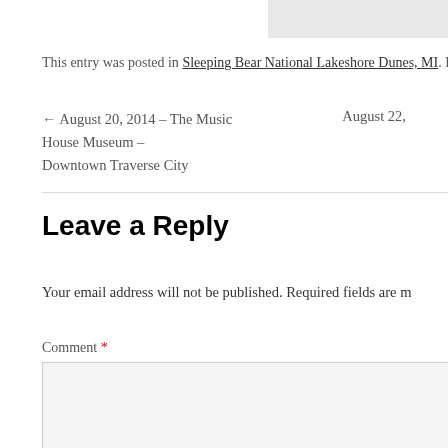This entry was posted in Sleeping Bear National Lakeshore Dunes, MI. Book
← August 20, 2014 – The Music House Museum – Downtown Traverse City    August 22,
Leave a Reply
Your email address will not be published. Required fields are m
Comment *